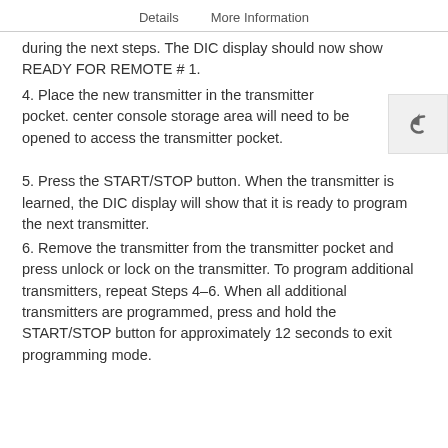Details    More Information
during the next steps. The DIC display should now show READY FOR REMOTE # 1.
4. Place the new transmitter in the transmitter pocket. center console storage area will need to be opened to access the transmitter pocket.
5. Press the START/STOP button. When the transmitter is learned, the DIC display will show that it is ready to program the next transmitter.
6. Remove the transmitter from the transmitter pocket and press unlock or lock on the transmitter. To program additional transmitters, repeat Steps 4–6. When all additional transmitters are programmed, press and hold the START/STOP button for approximately 12 seconds to exit programming mode.